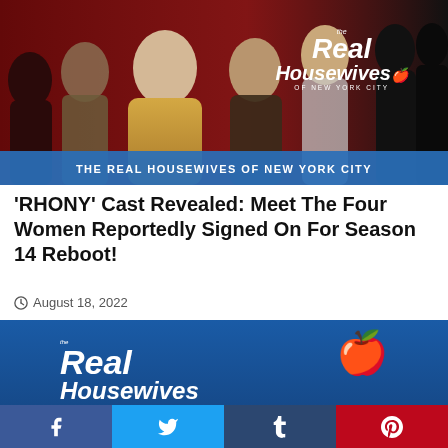[Figure (photo): The Real Housewives of New York City promotional image showing cast members in glamorous outfits against a red and dark background, with the show logo overlay and a blue banner reading 'THE REAL HOUSEWIVES OF NEW YORK CITY']
'RHONY' Cast Revealed: Meet The Four Women Reportedly Signed On For Season 14 Reboot!
August 18, 2022
[Figure (photo): The Real Housewives of New York City show logo on a blue background showing 'the Real Housewives' text in large white bold italic lettering with an apple icon]
Facebook | Twitter | Tumblr | Pinterest social share buttons